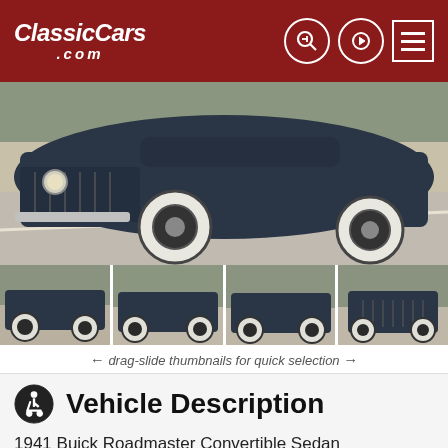ClassicCars.com
[Figure (photo): Main large photo of a 1941 Buick Roadmaster Convertible Sedan, dark navy blue, with whitewall tires, viewed from front-side angle on a road with wooded background]
[Figure (photo): Four thumbnail photos of the 1941 Buick Roadmaster Convertible Sedan showing different angles: side, front-side, front, and frontal views]
← drag-slide thumbnails for quick selection →
Vehicle Description
1941 Buick Roadmaster Convertible Sedan